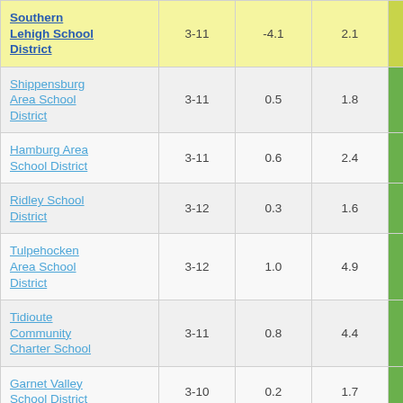| School District | Grades | Col3 | Col4 | Score | Col6 |
| --- | --- | --- | --- | --- | --- |
| Southern Lehigh School District | 3-11 | -4.1 | 2.1 | -1.94 | 3 |
| Shippensburg Area School District | 3-11 | 0.5 | 1.8 | 0.26 |  |
| Hamburg Area School District | 3-11 | 0.6 | 2.4 | 0.25 |  |
| Ridley School District | 3-12 | 0.3 | 1.6 | 0.21 |  |
| Tulpehocken Area School District | 3-12 | 1.0 | 4.9 | 0.20 |  |
| Tidioute Community Charter School | 3-11 | 0.8 | 4.4 | 0.19 |  |
| Garnet Valley School District | 3-10 | 0.2 | 1.7 | 0.13 |  |